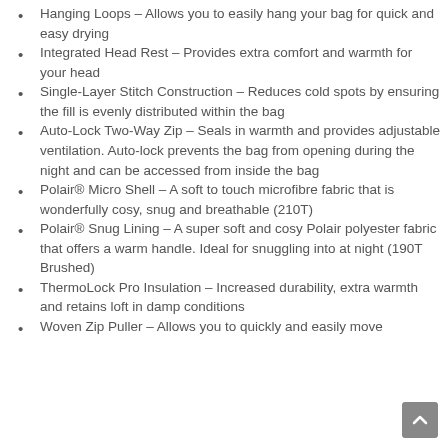Hanging Loops – Allows you to easily hang your bag for quick and easy drying
Integrated Head Rest – Provides extra comfort and warmth for your head
Single-Layer Stitch Construction – Reduces cold spots by ensuring the fill is evenly distributed within the bag
Auto-Lock Two-Way Zip – Seals in warmth and provides adjustable ventilation. Auto-lock prevents the bag from opening during the night and can be accessed from inside the bag
Polair® Micro Shell – A soft to touch microfibre fabric that is wonderfully cosy, snug and breathable (210T)
Polair® Snug Lining – A super soft and cosy Polair polyester fabric that offers a warm handle. Ideal for snuggling into at night (190T Brushed)
ThermoLock Pro Insulation – Increased durability, extra warmth and retains loft in damp conditions
Woven Zip Puller – Allows you to quickly and easily move